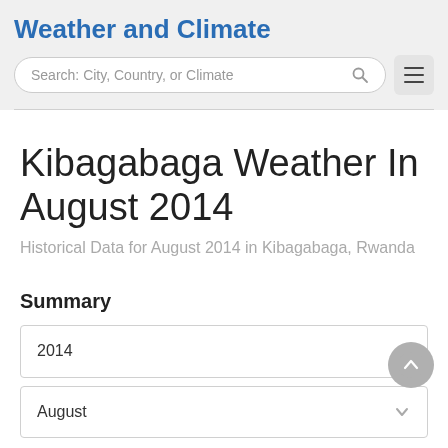Weather and Climate
Search: City, Country, or Climate
Kibagabaga Weather In August 2014
Historical Data for August 2014 in Kibagabaga, Rwanda
Summary
2014
August